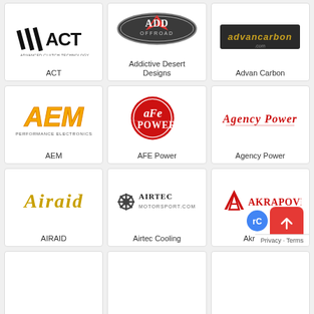[Figure (logo): ACT Advanced Clutch Technology logo - black diagonal lines with ACT text]
ACT
[Figure (logo): ADD Offroad logo - silver oval with ADD Offroad text]
Addictive Desert Designs
[Figure (logo): Advan Carbon logo - gold text on dark background]
Advan Carbon
[Figure (logo): AEM Performance Electronics logo - orange/yellow AEM text with tagline]
AEM
[Figure (logo): aFe Power logo - red circle with aFe POWER text]
AFE Power
[Figure (logo): Agency Power logo - red script text]
Agency Power
[Figure (logo): Airaid logo - yellow/gold script text]
AIRAID
[Figure (logo): Airtec Motorsport logo - black text with gear icon]
Airtec Cooling
[Figure (logo): Akrapovic logo - red and black with stylized A and AKRAPOVIC text]
Akrapovic